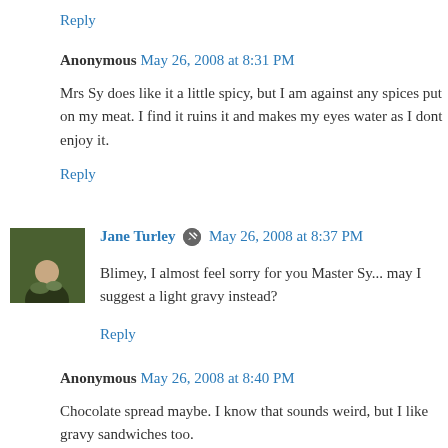Reply
Anonymous  May 26, 2008 at 8:31 PM
Mrs Sy does like it a little spicy, but I am against any spices put on my meat. I find it ruins it and makes my eyes water as I dont enjoy it.
Reply
Jane Turley  May 26, 2008 at 8:37 PM
Blimey, I almost feel sorry for you Master Sy... may I suggest a light gravy instead?
Reply
Anonymous  May 26, 2008 at 8:40 PM
Chocolate spread maybe. I know that sounds weird, but I like gravy sandwiches too.